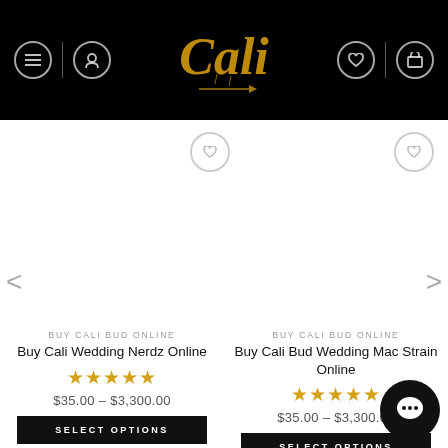[Figure (logo): Cali brand logo in gold script on black navbar with navigation icons (hamburger menu, user profile, heart/wishlist, shopping cart)]
[Figure (screenshot): Carousel navigation with left and right arrows on white background, two product card areas below]
BUY CALI BUD ONLINE
Buy Cali Wedding Nerdz Online
★★★★★
$35.00 – $3,300.00
SELECT OPTIONS
BUY CALI BUD ONLINE
Buy Cali Bud Wedding Mac Strain Online
★★★★☆
$35.00 – $3,300.00
SELECT OPTIONS